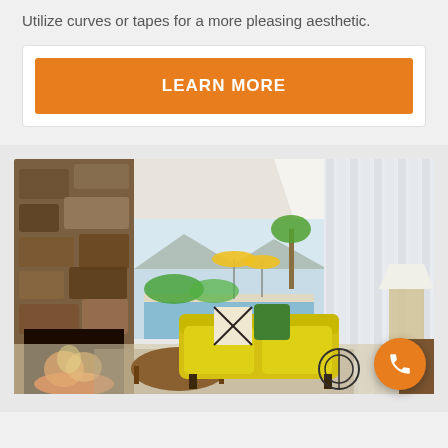Utilize curves or tapes for a more pleasing aesthetic.
LEARN MORE
[Figure (photo): Interior photo of a mid-century modern living room with a yellow sofa, green throw pillow, stone fireplace on the left, white horizontal blinds on the right, and a pool visible through large glass windows in the background. A phone call button is overlaid in the bottom-right corner.]